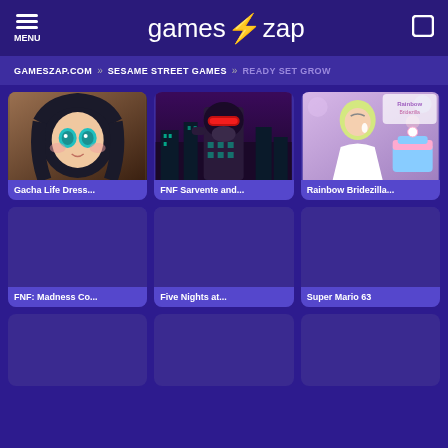MENU | gameszap | [search]
GAMESZAP.COM » SESAME STREET GAMES » READY SET GROW
[Figure (screenshot): Gacha Life Dress... game thumbnail - anime chibi girl with dark hair and teal eyes]
Gacha Life Dress...
[Figure (screenshot): FNF Sarvente and... game thumbnail - dark figure with red visor in purple city]
FNF Sarvente and...
[Figure (screenshot): Rainbow Bridezilla... game thumbnail - blonde woman in white dress with cake]
Rainbow Bridezilla...
[Figure (screenshot): FNF: Madness Co... game thumbnail - empty placeholder]
FNF: Madness Co...
[Figure (screenshot): Five Nights at... game thumbnail - empty placeholder]
Five Nights at...
[Figure (screenshot): Super Mario 63 game thumbnail - empty placeholder]
Super Mario 63
[Figure (screenshot): Bottom row game 1 - empty placeholder]
[Figure (screenshot): Bottom row game 2 - empty placeholder]
[Figure (screenshot): Bottom row game 3 - empty placeholder]